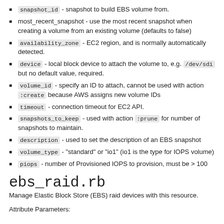snapshot_id - snapshot to build EBS volume from.
most_recent_snapshot - use the most recent snapshot when creating a volume from an existing volume (defaults to false)
availability_zone - EC2 region, and is normally automatically detected.
device - local block device to attach the volume to, e.g. /dev/sdi but no default value, required.
volume_id - specify an ID to attach, cannot be used with action :create because AWS assigns new volume IDs
timeout - connection timeout for EC2 API.
snapshots_to_keep - used with action :prune for number of snapshots to maintain.
description - used to set the description of an EBS snapshot
volume_type - "standard" or "io1" (io1 is the type for IOPS volume)
piops - number of Provisioned IOPS to provision, must be > 100
ebs_raid.rb
Manage Elastic Block Store (EBS) raid devices with this resource.
Attribute Parameters: